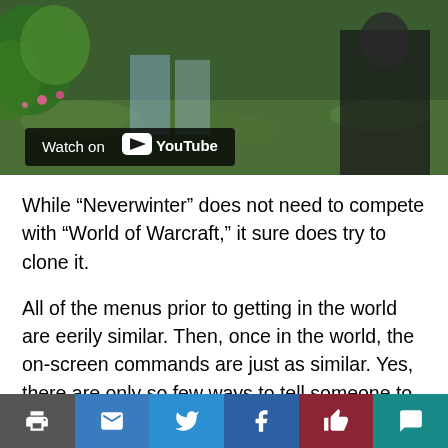[Figure (screenshot): Video thumbnail showing a World of Warcraft / Neverwinter game scene with characters in a green outdoor environment. Overlay shows 'Watch on YouTube' button.]
While “Neverwinter” does not need to compete with “World of Warcraft,” it sure does try to clone it.
All of the menus prior to getting in the world are eerily similar. Then, once in the world, the on-screen commands are just as similar. Yes, there are only so few ways to tell someone to go kill some things, but there has to be a way to stand out.
The major way “Neverwinter” stands out from the broken console MMOs is in its controls.
Th...